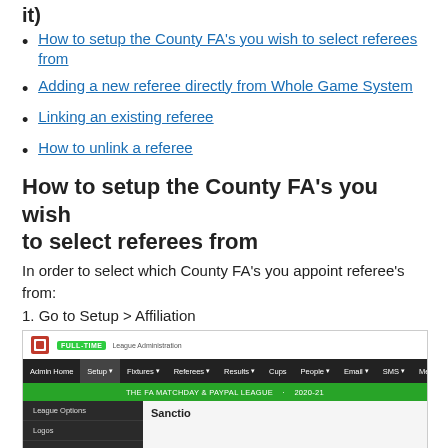it)
How to setup the County FA's you wish to select referees from
Adding a new referee directly from Whole Game System
Linking an existing referee
How to unlink a referee
How to setup the County FA's you wish to select referees from
In order to select which County FA's you appoint referee's from:
1. Go to Setup > Affiliation
[Figure (screenshot): Screenshot of a web application showing a navigation bar with Setup menu expanded, showing options: League Options, Logos, Scoring System, League. Green bar shows THE FA MATCHDAY & PAYPAL LEAGUE 2020-21. Below shows Sanction section with Enter County input field.]